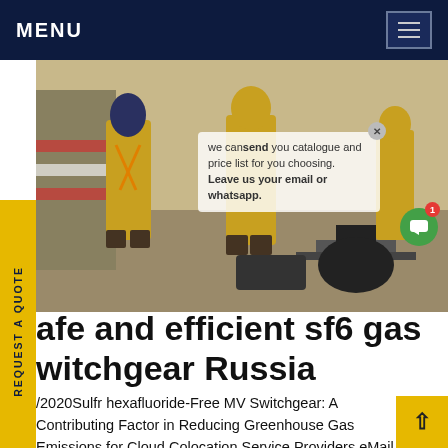MENU
[Figure (photo): Workers in yellow protective suits standing on a construction/industrial site with equipment and barriers visible]
we can send you catalogue and price list for you choosing. Leave us your email or whatsapp.
safe and efficient sf6 gas switchgear Russia
/2020Sulfr hexafluoride-Free MV Switchgear: A Contributing Factor in Reducing Greenhouse Gas Emissions for Cloud Colocation Service Providers eMail 105 7 Tweet Share A recent IDC report sho that data center capacity is projected to grow from 2010 to 2020 [1] confirmed that th